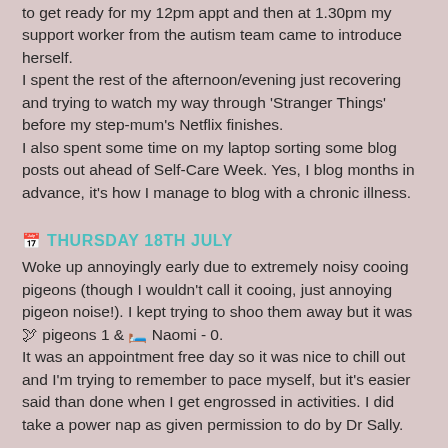to get ready for my 12pm appt and then at 1.30pm my support worker from the autism team came to introduce herself.
I spent the rest of the afternoon/evening just recovering and trying to watch my way through 'Stranger Things' before my step-mum's Netflix finishes.
I also spent some time on my laptop sorting some blog posts out ahead of Self-Care Week. Yes, I blog months in advance, it's how I manage to blog with a chronic illness.
🗓 THURSDAY 18TH JULY
Woke up annoyingly early due to extremely noisy cooing pigeons (though I wouldn't call it cooing, just annoying pigeon noise!). I kept trying to shoo them away but it was 🕊 pigeons 1 & 🛏️ Naomi - 0.
It was an appointment free day so it was nice to chill out and I'm trying to remember to pace myself, but it's easier said than done when I get engrossed in activities. I did take a power nap as given permission to do by Dr Sally.